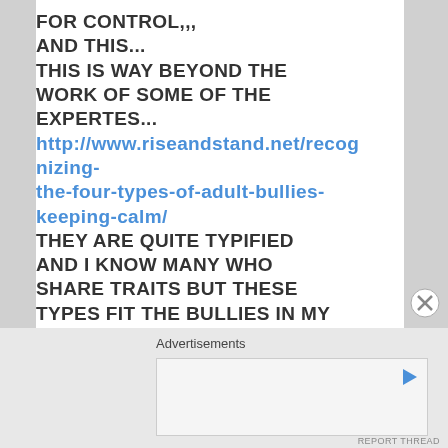FOR CONTROL,,
AND THIS...
THIS IS WAY BEYOND THE WORK OF SOME OF THE EXPERTES...
http://www.riseandstand.net/recognizing-the-four-types-of-adult-bullies-keeping-calm/
THEY ARE QUITE TYPIFIED AND I KNOW MANY WHO SHARE TRAITS BUT THESE TYPES FIT THE BULLIES IN MY LIFE PERFECTLY,,, THE INTERPLAY BETWEEN THEM TO CREATE THIS SO CALLED RAPE CULTURE WHICH OFT STALLS THE DEBATE COS
Advertisements